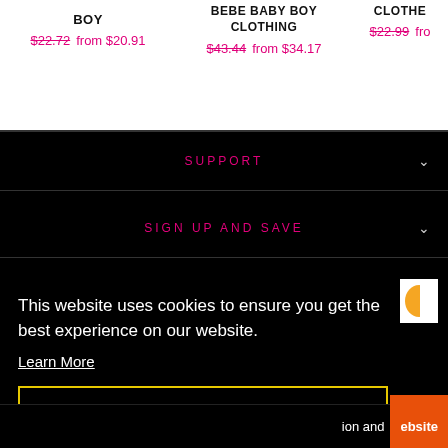BOY  $22.72 from $20.91
BEBE BABY BOY CLOTHING  $43.44 from $34.17
CLOTHE  $22.99 fro
SUPPORT
SIGN UP AND SAVE
This website uses cookies to ensure you get the best experience on our website.
Learn More
Got it!
ion and
ebsite